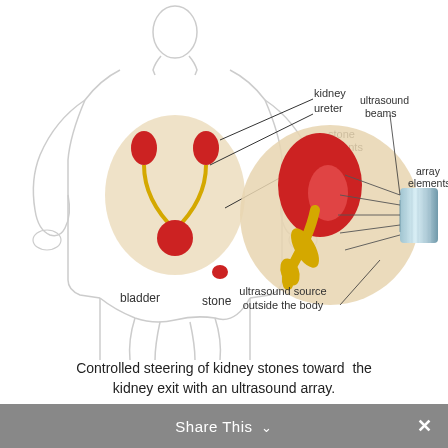[Figure (illustration): Medical illustration showing a human body outline (front view) with urinary system highlighted: kidneys (red), ureters (yellow), and bladder (red). Labels point to kidney, ureter, stone fragments, bladder, and stone. On the right, a zoomed circular inset shows a kidney with a kidney stone (red organ, orange/yellow stone fragment) and an ultrasound transducer array pointing focused beams at the stone. Labels: ultrasound beams, array elements, ultrasound source outside the body, stone fragments.]
Controlled steering of kidney stones toward  the kidney exit with an ultrasound array.
Share This ∨  ×